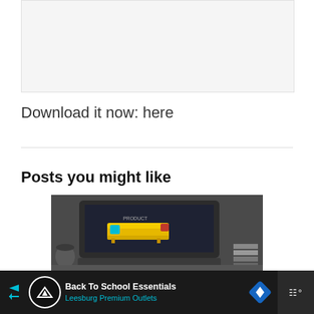[Figure (other): Light gray placeholder image box at the top of the page]
Download it now: here
[Figure (photo): Photo of a laptop on a desk displaying a yellow sofa product page, with a coffee cup and color swatches visible nearby]
Posts you might like
[Figure (screenshot): Advertisement bar at the bottom: Back To School Essentials - Leesburg Premium Outlets]